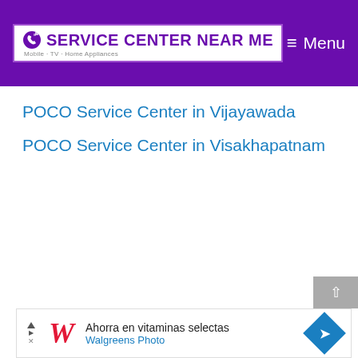SERVICE CENTER NEAR ME — Mobile · TV · Home Appliances | Menu
POCO Service Center in Vijayawada
POCO Service Center in Visakhapatnam
[Figure (screenshot): Walgreens ad banner: Ahorra en vitaminas selectas / Walgreens Photo]